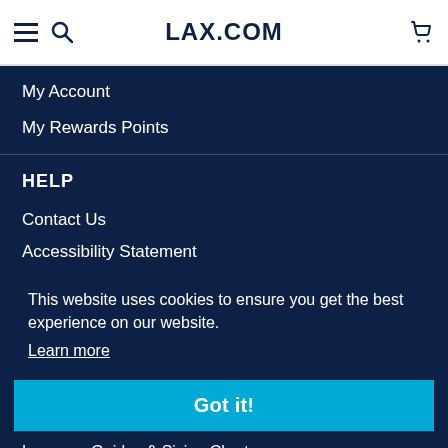LAX.COM
My Account
My Rewards Points
HELP
Contact Us
Accessibility Statement
This website uses cookies to ensure you get the best experience on our website.
Learn more
Got it!
Lacrosse Guides & Sizing Charts